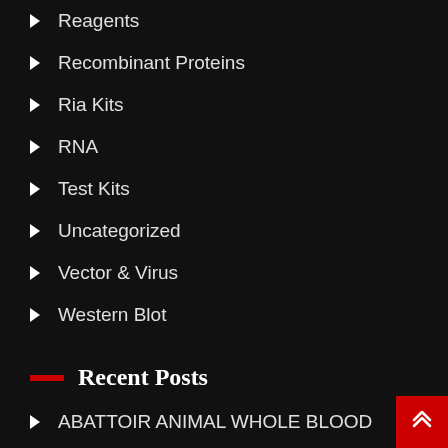Reagents
Recombinant Proteins
Ria Kits
RNA
Test Kits
Uncategorized
Vector & Virus
Western Blot
Recent Posts
ABATTOIR ANIMAL WHOLE BLOOD
Functional loss of inactive rhomboid-like protein 2